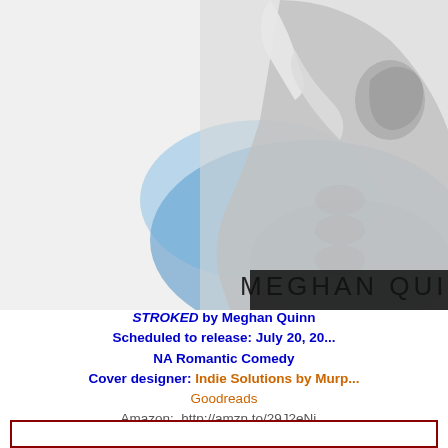[Figure (photo): Black and white photo of a muscular tattooed man holding a towel over his shoulder, wearing black underwear. Blue powder splash effect in background. Text 'MEGHAN QUIN' visible at bottom of image.]
STROKED by Meghan Quinn
Scheduled to release: July 20, 20...
NA Romantic Comedy
Cover designer: Indie Solutions by Murp...
Goodreads
Amazon:  http://amzn.to/29J2eNi...